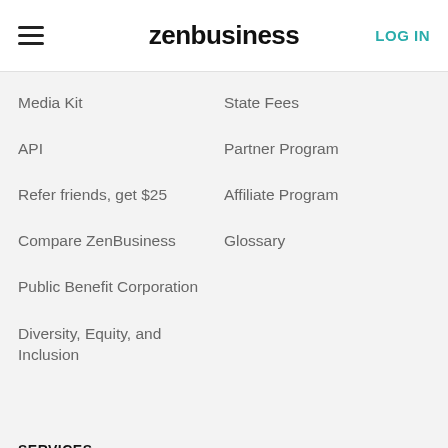zenbusiness | LOG IN
Media Kit
State Fees
API
Partner Program
Refer friends, get $25
Affiliate Program
Compare ZenBusiness
Glossary
Public Benefit Corporation
Diversity, Equity, and Inclusion
SERVICES
Formation Services